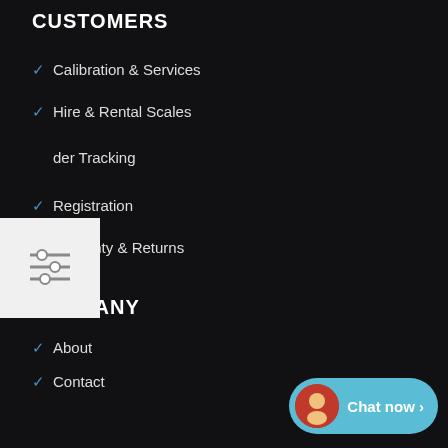CUSTOMERS
Calibration & Services
Hire & Rental Scales
Order Tracking
Registration
Warranty & Returns
COMPANY
About
Contact
Vehicle Weighing Scales
UK Scale Manufacturer
Scale FAQs
[Figure (other): Filter/settings widget icon (sliders) shown as a white box overlay]
[Figure (other): Chat now widget with avatar photo and teal button at bottom right]